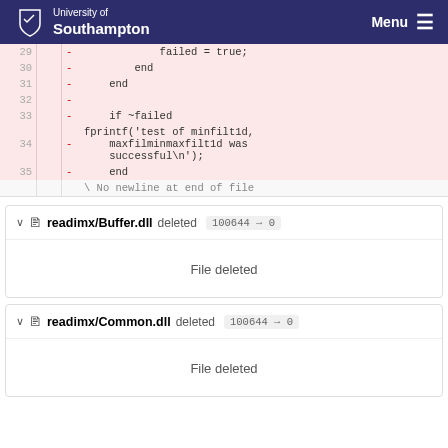University of Southampton | Menu
[Figure (screenshot): Code diff view showing lines 29-35 of a MATLAB test file. Lines are highlighted in pink (deleted). Line 29: failed = true; Line 30: end Line 31: end Line 32: (empty) Line 33: if ~failed Line 34: fprintf('test of minfilt1d, maxfilminmaxfilt1d was successful\n'); Line 35: end. Followed by: \ No newline at end of file]
readimx/Buffer.dll deleted  100644 → 0
File deleted
readimx/Common.dll deleted  100644 → 0
File deleted